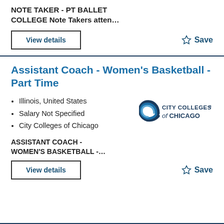NOTE TAKER - PT BALLET COLLEGE Note Takers atten…
View details
Save
Assistant Coach - Women's Basketball - Part Time
Illinois, United States
Salary Not Specified
City Colleges of Chicago
[Figure (logo): City Colleges of Chicago logo - circular swoosh mark with text]
ASSISTANT COACH - WOMEN'S BASKETBALL -…
View details
Save